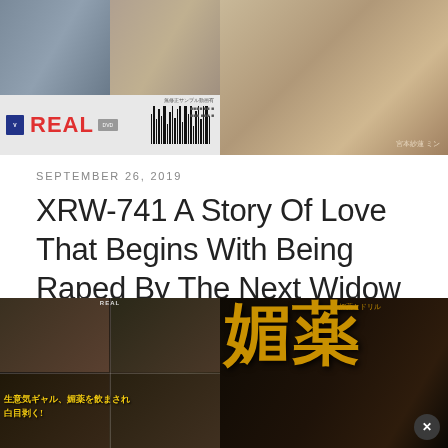[Figure (photo): Top left: DVD product back cover with REAL logo and barcode; top right: woman lying on patterned sofa]
SEPTEMBER 26, 2019
XRW-741 A Story Of Love That Begins With Being Raped By The Next Widow Mirai Sunohara
[Figure (photo): Bottom: two adult video cover images side by side; left shows action scenes with Japanese text overlay; right shows woman with large kanji characters 媚薬 and a close button]